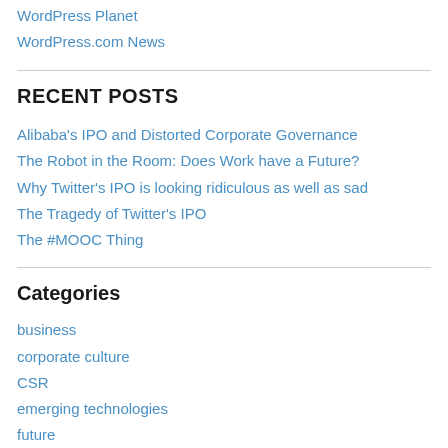WordPress Planet
WordPress.com News
RECENT POSTS
Alibaba's IPO and Distorted Corporate Governance
The Robot in the Room: Does Work have a Future?
Why Twitter's IPO is looking ridiculous as well as sad
The Tragedy of Twitter's IPO
The #MOOC Thing
Categories
business
corporate culture
CSR
emerging technologies
future
innovation